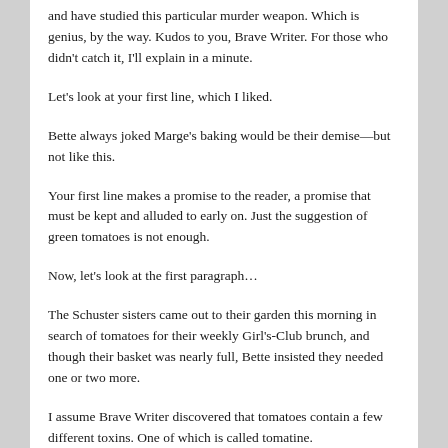and have studied this particular murder weapon. Which is genius, by the way. Kudos to you, Brave Writer. For those who didn't catch it, I'll explain in a minute.
Let's look at your first line, which I liked.
Bette always joked Marge's baking would be their demise—but not like this.
Your first line makes a promise to the reader, a promise that must be kept and alluded to early on. Just the suggestion of green tomatoes is not enough.
Now, let's look at the first paragraph…
The Schuster sisters came out to their garden this morning in search of tomatoes for their weekly Girl's-Club brunch, and though their basket was nearly full, Bette insisted they needed one or two more.
I assume Brave Writer discovered that tomatoes contain a few different toxins. One of which is called tomatine.